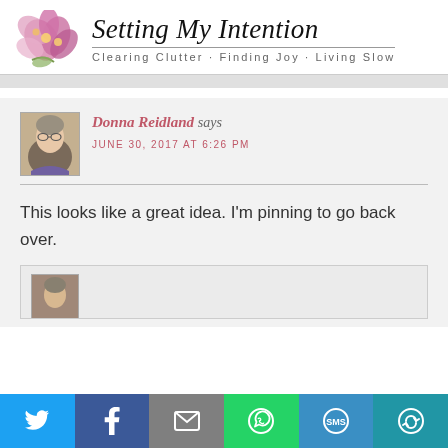[Figure (logo): Setting My Intention blog logo with pink orchid flowers on the left and cursive title text on the right with tagline: Clearing Clutter · Finding Joy · Living Slow]
Donna Reidland says
JUNE 30, 2017 AT 6:26 PM
This looks like a great idea. I'm pinning to go back over.
[Figure (screenshot): Partial second comment block visible at bottom]
[Figure (infographic): Social share bar with Twitter, Facebook, Email, WhatsApp, SMS, and More buttons]